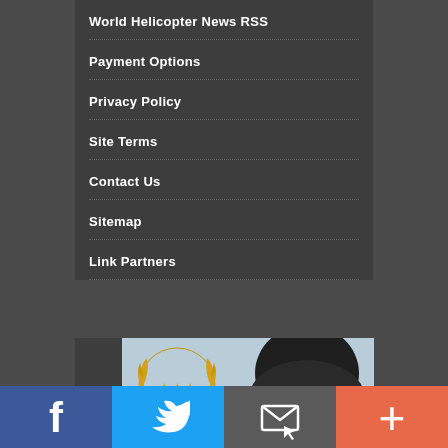World Helicopter News RSS
Payment Options
Privacy Policy
Site Terms
Contact Us
Sitemap
Link Partners
[Figure (photo): Advertisement banner with award badge and helmet image]
[Figure (infographic): Social media bar with Facebook, Twitter, Email, and Plus buttons]